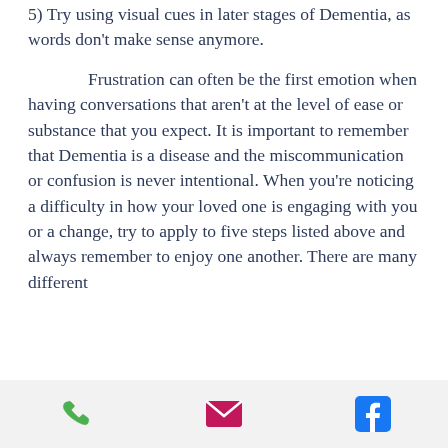5) Try using visual cues in later stages of Dementia, as words don't make sense anymore.
Frustration can often be the first emotion when having conversations that aren't at the level of ease or substance that you expect. It is important to remember that Dementia is a disease and the miscommunication or confusion is never intentional. When you're noticing a difficulty in how your loved one is engaging with you or a change, try to apply to five steps listed above and always remember to enjoy one another. There are many different
phone | email | facebook